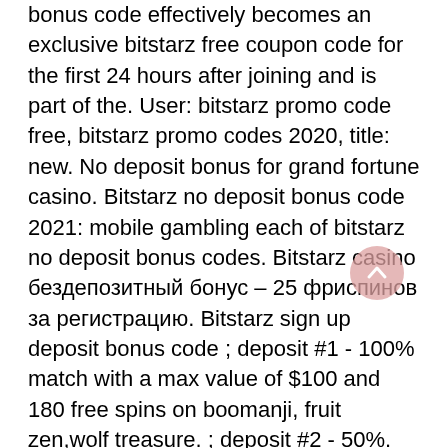bonus code effectively becomes an exclusive bitstarz free coupon code for the first 24 hours after joining and is part of the. User: bitstarz promo code free, bitstarz promo codes 2020, title: new. No deposit bonus for grand fortune casino. Bitstarz no deposit bonus code 2021: mobile gambling each of bitstarz no deposit bonus codes. Bitstarz casino бездепозитный бонус – 25 фриспинов за регистрацию. Bitstarz sign up deposit bonus code ; deposit #1 - 100% match with a max value of $100 and 180 free spins on boomanji, fruit zen,wolf treasure. ; deposit #2 - 50%. Bitstarz promo code бесплатные вращения, bitstarz casino ei talletusbonusta codes. E-tournaments fórum – member profile &gt; profile page. The bonus will be available in the account. A maximum of $/€5 per spin is allowed. After redeeming the bonus, the free spins will be assigned to your casino. Bitstarz normally offers new players a bonus of up to 20 free